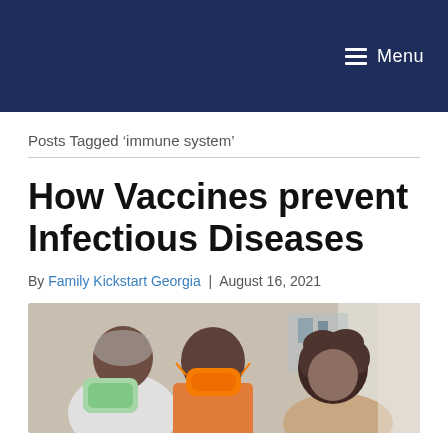Menu
Posts Tagged ‘immune system’
How Vaccines prevent Infectious Diseases
By Family Kickstart Georgia | August 16, 2021
[Figure (photo): A healthcare worker in a hairnet and gloves administers a vaccine or treatment to a child wearing an orange face mask, with another child nearby, in a medical setting.]